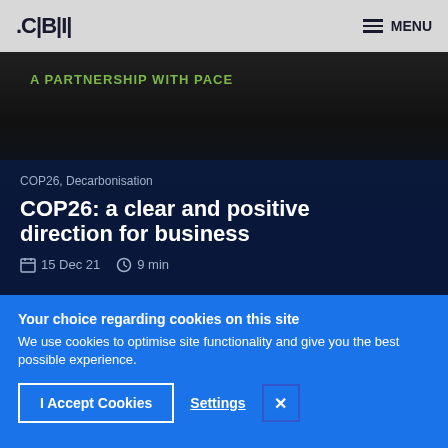CBI | MENU
[Figure (photo): Dark background hero image with a silhouette and green text overlay reading 'A PARTNERSHIP WITH PACE']
COP26, Decarbonisation
COP26: a clear and positive direction for business
15 Dec 21   9 min
Your choice regarding cookies on this site
We use cookies to optimise site functionality and give you the best possible experience.
I Accept Cookies
Settings